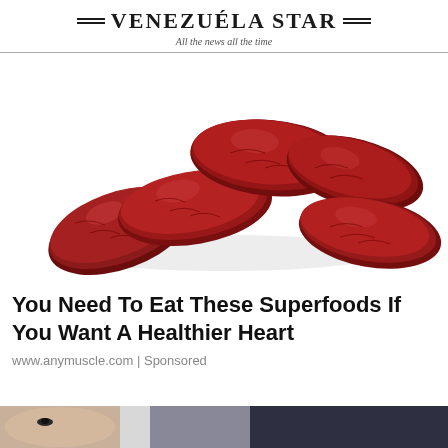Venezuela Star — All the news all the time
[Figure (photo): Cluster of glossy dark red dates (dried fruit) on a white background]
You Need To Eat These Superfoods If You Want A Healthier Heart
www.anymuscle.com | Sponsored
[Figure (photo): Partial view of a person and a car at the bottom of the page]